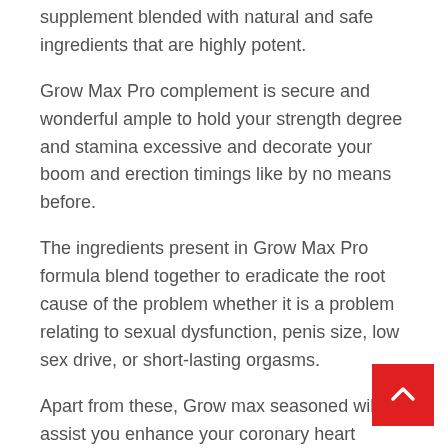supplement blended with natural and safe ingredients that are highly potent.
Grow Max Pro complement is secure and wonderful ample to hold your strength degree and stamina excessive and decorate your boom and erection timings like by no means before.
The ingredients present in Grow Max Pro formula blend together to eradicate the root cause of the problem whether it is a problem relating to sexual dysfunction, penis size, low sex drive, or short-lasting orgasms.
Apart from these, Grow max seasoned will assist you enhance your coronary heart health, resolve digestive issues via clearing any loss of urge for food issues, improves metabolic rate, and helps in enhancing the universal fitness of the body.